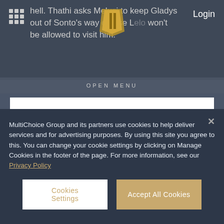hell. Thathi asks Melusi to keep Gladys out of Sonto's way or else Lelo won't be allowed to visit him.
OPEN MENU
4 June 2021 Episode 30
The fight about Don between Zodwa and Teddy ends in tears for Zodwa. The tension between the Dlamini's and the Molefe's is getting too much for everyone involved. Gladys gets a revelation that
MultiChoice Group and its partners use cookies to help deliver services and for advertising purposes. By using this site you agree to this. You can change your cookie settings by clicking on Manage Cookies in the footer of the page. For more information, see our Privacy Policy
Cookies Settings
Accept All Cookies